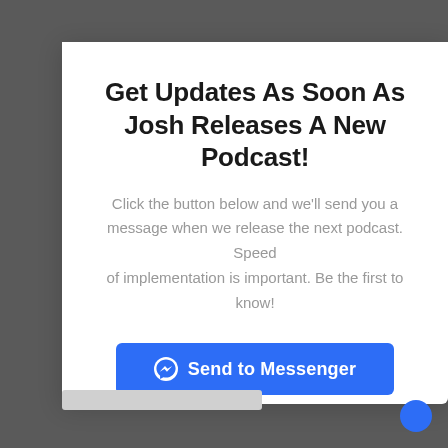Get Updates As Soon As Josh Releases A New Podcast!
Click the button below and we'll send you a message when we release the next podcast. Speed of implementation is important. Be the first to know!
[Figure (other): Blue 'Send to Messenger' button with Facebook Messenger lightning bolt icon]